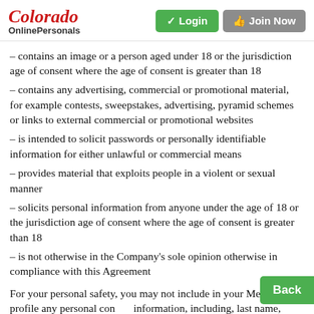Colorado Online Personals | Login | Join Now
– contains an image or a person aged under 18 or the jurisdiction age of consent where the age of consent is greater than 18
– contains any advertising, commercial or promotional material, for example contests, sweepstakes, advertising, pyramid schemes or links to external commercial or promotional websites
– is intended to solicit passwords or personally identifiable information for either unlawful or commercial means
– provides material that exploits people in a violent or sexual manner
– solicits personal information from anyone under the age of 18 or the jurisdiction age of consent where the age of consent is greater than 18
– is not otherwise in the Company's sole opinion otherwise in compliance with this Agreement
For your personal safety, you may not include in your Member profile any personal contact information, including, last name, street